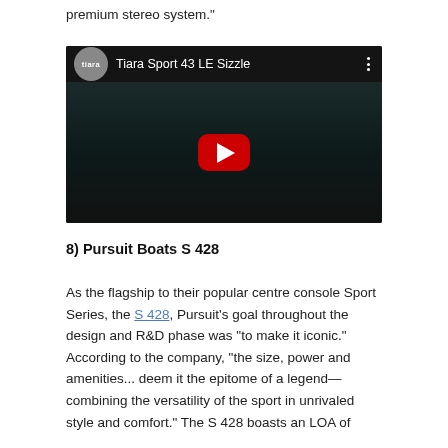premium stereo system."
[Figure (screenshot): YouTube video embed showing 'Tiara Sport 43 LE Sizzle' with Tiara logo, dark thumbnail of a boat, and red YouTube play button]
8) Pursuit Boats S 428
As the flagship to their popular centre console Sport Series, the S 428, Pursuit's goal throughout the design and R&D phase was "to make it iconic." According to the company, "the size, power and amenities... deem it the epitome of a legend—combining the versatility of the sport in unrivaled style and comfort." The S 428 boasts an LOA of